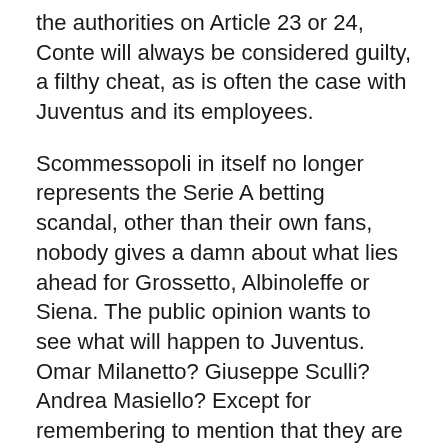the authorities on Article 23 or 24, Conte will always be considered guilty, a filthy cheat, as is often the case with Juventus and its employees.
Scommessopoli in itself no longer represents the Serie A betting scandal, other than their own fans, nobody gives a damn about what lies ahead for Grossetto, Albinoleffe or Siena. The public opinion wants to see what will happen to Juventus. Omar Milanetto? Giuseppe Sculli? Andrea Masiello? Except for remembering to mention that they are all Juventus youth products, the media seems to have forgotten about them. Their utmost attention is directed towards AS Bari's former match-fixing extraordinaire Leonardo Bonucci. So what will it be, two years or three years?